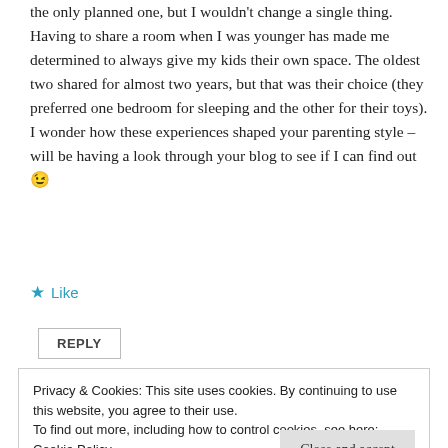the only planned one, but I wouldn't change a single thing. Having to share a room when I was younger has made me determined to always give my kids their own space. The oldest two shared for almost two years, but that was their choice (they preferred one bedroom for sleeping and the other for their toys). I wonder how these experiences shaped your parenting style – will be having a look through your blog to see if I can find out 😉
★ Like
REPLY
Privacy & Cookies: This site uses cookies. By continuing to use this website, you agree to their use.
To find out more, including how to control cookies, see here: Cookie Policy
Close and accept